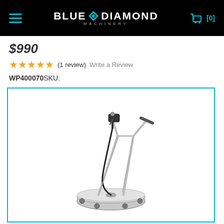Blue Diamond Machinery - navigation header with hamburger menu and cart [0]
$990
★★★★★ (1 review)  Write a Review
WP400070SKU:
[Figure (photo): Pressure washer surface cleaner / flat surface cleaner with round stainless steel disc base with small wheels, two metal handle arms converging upward, a trigger gun at top, and a hose. Product displayed on white background inside a teal-bordered box.]